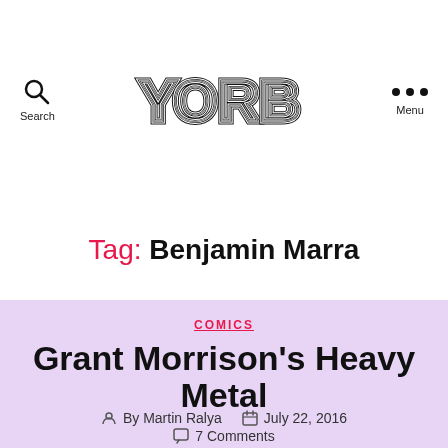[Figure (logo): YORB logo in decorative concentric-line outlined letters]
Tag: Benjamin Marra
COMICS
Grant Morrison's Heavy Metal
By Martin Ralya   July 22, 2016
7 Comments